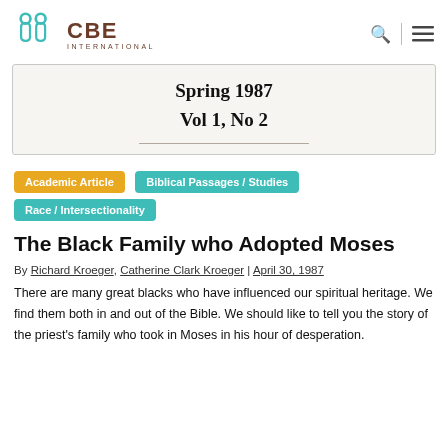CBE INTERNATIONAL
[Figure (logo): CBE International logo with teal figures and brown CBE text]
Spring 1987
Vol 1, No 2
Academic Article
Biblical Passages / Studies
Race / Intersectionality
The Black Family who Adopted Moses
By Richard Kroeger, Catherine Clark Kroeger | April 30, 1987
There are many great blacks who have influenced our spiritual heritage. We find them both in and out of the Bible. We should like to tell you the story of the priest's family who took in Moses in his hour of desperation.